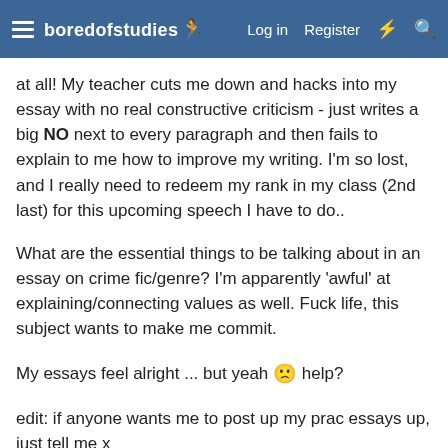boredofstudies | Log in | Register
at all! My teacher cuts me down and hacks into my essay with no real constructive criticism - just writes a big NO next to every paragraph and then fails to explain to me how to improve my writing. I'm so lost, and I really need to redeem my rank in my class (2nd last) for this upcoming speech I have to do..
What are the essential things to be talking about in an essay on crime fic/genre? I'm apparently 'awful' at explaining/connecting values as well. Fuck life, this subject wants to make me commit.
My essays feel alright ... but yeah 🙁 help?
edit: if anyone wants me to post up my prac essays up, just tell me x
Last edited: May 22, 2010
foolish bowie
Member